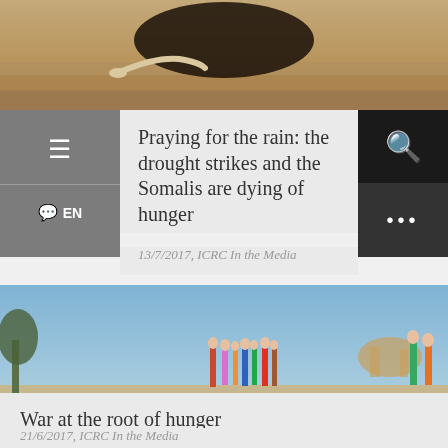[Figure (photo): Top portion of a parched desert scene with an animal bone/horn visible and a dark silhouette, arid drought imagery]
Praying for the rain: the drought strikes and the Somalis are dying of hunger
13/7/2017, ICRC In the Media
[Figure (photo): Animal skeleton/carcass lying on dry sandy ground in the foreground, with a group of people standing in the background under a blue sky with sparse trees, drought in Somalia]
War at the root of hunger
21/6/2017, ICRC In the Media